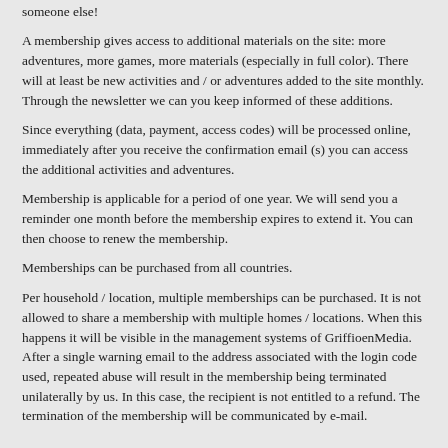This also makes it possible to buy membership gift certificates for someone else!
A membership gives access to additional materials on the site: more adventures, more games, more materials (especially in full color). There will at least be new activities and / or adventures added to the site monthly. Through the newsletter we can you keep informed of these additions.
Since everything (data, payment, access codes) will be processed online, immediately after you receive the confirmation email (s) you can access the additional activities and adventures.
Membership is applicable for a period of one year. We will send you a reminder one month before the membership expires to extend it. You can then choose to renew the membership.
Memberships can be purchased from all countries.
Per household / location, multiple memberships can be purchased. It is not allowed to share a membership with multiple homes / locations. When this happens it will be visible in the management systems of GriffioenMedia. After a single warning email to the address associated with the login code used, repeated abuse will result in the membership being terminated unilaterally by us. In this case, the recipient is not entitled to a refund. The termination of the membership will be communicated by e-mail.